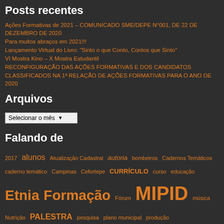Posts recentes
Ações Formativas de 2021 – COMUNICADO SME/DEPE N°001, DE 22 DE DEZEMBRO DE 2020
Para muitos abraços em 2021!!!
Lançamento Virtual do Livro: "Sinto o que Conto, Contos que Sinto"
VI Mostra Kino – X Mostra Estudantil
RECONFIGURAÇÃO DAS AÇÕES FORMATIVAS E DOS CANDIDATOS CLASSIFICADOS NA 1ª RELAÇÃO DE AÇÕES FORMATIVAS PARA O ANO DE 2020
Arquivos
Selecionar o mês
Falando de
2017 alunos Atualização Cadastral autoria bombeiros Cadernos Temáticos caderno temático Campinas Cefortepe CURRÍCULO curso educação Etnia Formação Fórum MIPID música Nutrição PALESTRA pesquisa plano municipal produção